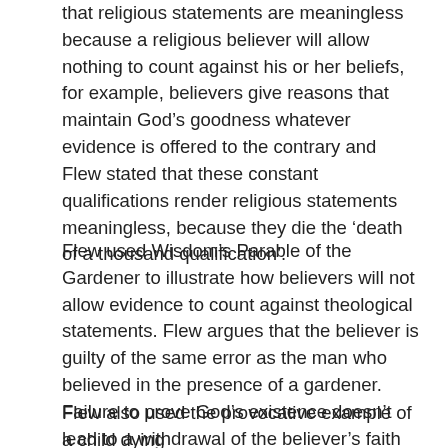that religious statements are meaningless because a religious believer will allow nothing to count against his or her beliefs, for example, believers give reasons that maintain God's goodness whatever evidence is offered to the contrary and Flew stated that these constant qualifications render religious statements meaningless, because they die the 'death of a thousand qualification'.
Flew used Wisdom's Parable of the Gardener to illustrate how believers will not allow evidence to count against theological statements. Flew argues that the believer is guilty of the same error as the man who believed in the presence of a gardener. Failure to prove God's existence doesn't lead to a withdrawal of the believer's faith claims, rather they continue to believe in a God, who like the Gardener can only be described in negative terms.
Flew also used the provocative example of a child dying